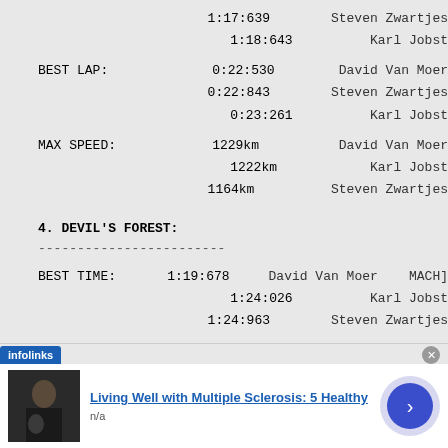|  | 1:17:639 | Steven Zwartjes |  |
|  | 1:18:643 | Karl Jobst |  |
| BEST LAP: | 0:22:530 | David Van Moer |  |
|  | 0:22:843 | Steven Zwartjes |  |
|  | 0:23:261 | Karl Jobst |  |
| MAX SPEED: | 1229km | David Van Moer |  |
|  | 1222km | Karl Jobst |  |
|  | 1164km | Steven Zwartjes |  |
4. DEVIL'S FOREST:
| BEST TIME: | 1:19:678 | David Van Moer | MACH] |
|  | 1:24:026 | Karl Jobst |  |
|  | 1:24:963 | Steven Zwartjes |  |
| BEST LAP: | 0:22:530 | David Van Moer |  |
|  | 0:24:737 | Karl Jobst |  |
|  | 0:25:262 | Steven Zwartjes |  |
| MAX SPEED: | 1234km | David Van Moer |  |
[Figure (screenshot): Infolinks advertisement overlay showing 'Living Well with Multiple Sclerosis: 5 Healthy' with thumbnail image, n/a subtitle, and a blue arrow navigation button]